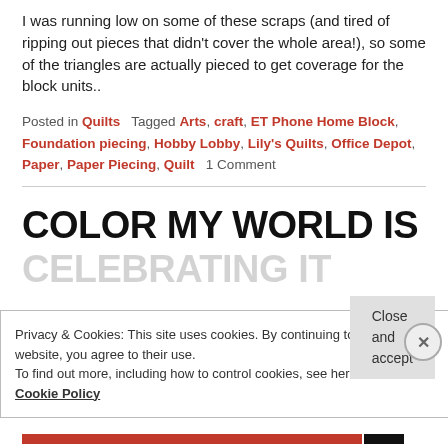I was running low on some of these scraps (and tired of ripping out pieces that didn't cover the whole area!), so some of the triangles are actually pieced to get coverage for the block units..
Posted in Quilts   Tagged Arts, craft, ET Phone Home Block, Foundation piecing, Hobby Lobby, Lily's Quilts, Office Depot, Paper, Paper Piecing, Quilt   1 Comment
COLOR MY WORLD IS
Privacy & Cookies: This site uses cookies. By continuing to use this website, you agree to their use.
To find out more, including how to control cookies, see here:
Cookie Policy
Close and accept